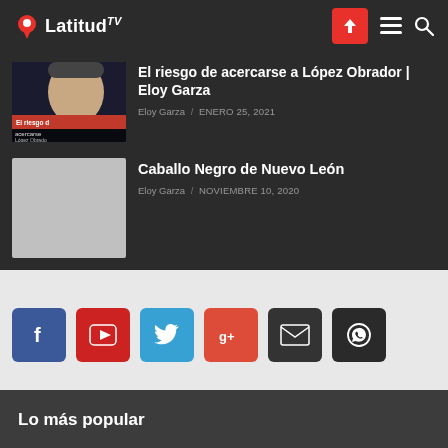Latitud TV
[Figure (screenshot): Video thumbnail for 'El riesgo de acercarse a López Obrador' with a person's face and red title bar]
El riesgo de acercarse a López Obrador | Eloy Garza
Eloy Garza / ENERO 25, 2021
[Figure (photo): Gray placeholder thumbnail]
Caballo Negro de Nuevo León
Eloy Garza / NOVIEMBRE 10, 2020
[Figure (infographic): Social media buttons: Facebook, YouTube, Twitter, Google+, Email, WhatsApp]
Lo más popular